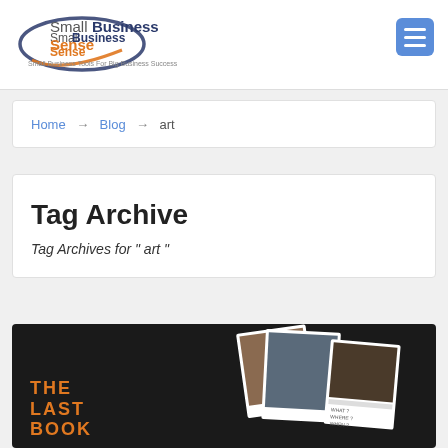[Figure (logo): SmallBusinessSense logo with tagline 'Small Business Tools For Big Business Success']
[Figure (other): Hamburger menu button (three horizontal lines) in blue rounded square]
Home → Blog → art
Tag Archive
Tag Archives for " art "
[Figure (photo): Dark background card with orange text 'THE LAST BOOK' and scattered photos of artwork/books]